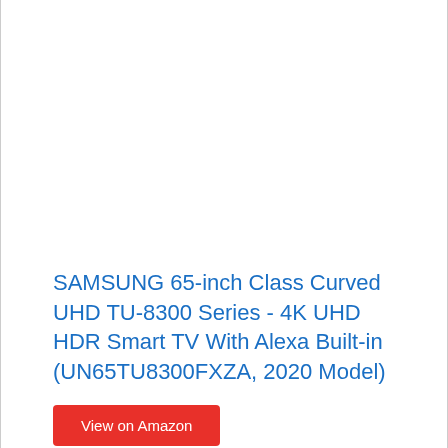SAMSUNG 65-inch Class Curved UHD TU-8300 Series - 4K UHD HDR Smart TV With Alexa Built-in (UN65TU8300FXZA, 2020 Model)
View on Amazon